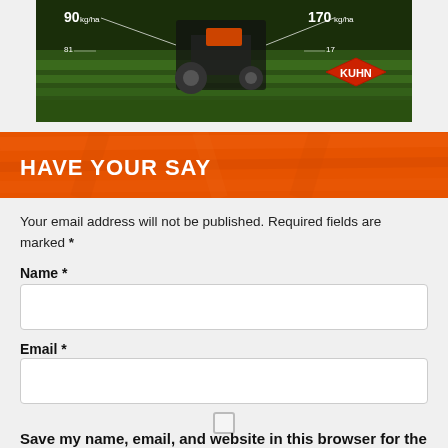[Figure (photo): Agricultural machinery (tractor/spreader) on grass field with KUHN brand logo diamond badge. Numbers visible: 90 kg/ha on left, 170 kg/ha on right, small numbers 81 and 17 below.]
HAVE YOUR SAY
Your email address will not be published. Required fields are marked *
Name *
Email *
Save my name, email, and website in this browser for the next time I comment.